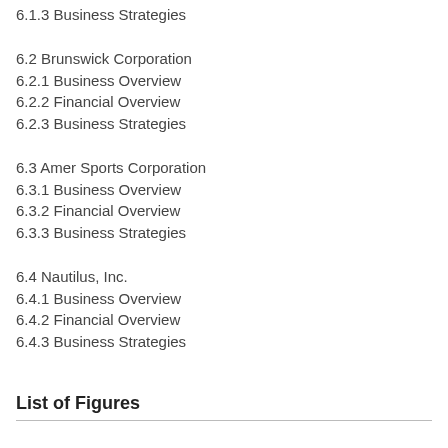6.1.3 Business Strategies
6.2 Brunswick Corporation
6.2.1 Business Overview
6.2.2 Financial Overview
6.2.3 Business Strategies
6.3 Amer Sports Corporation
6.3.1 Business Overview
6.3.2 Financial Overview
6.3.3 Business Strategies
6.4 Nautilus, Inc.
6.4.1 Business Overview
6.4.2 Financial Overview
6.4.3 Business Strategies
List of Figures